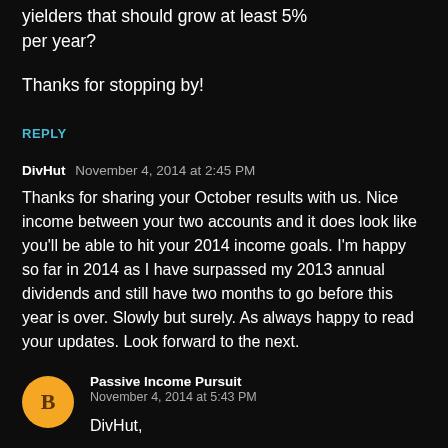yielders that should grow at least 5% per year?
Thanks for stopping by!
REPLY
DivHut  November 4, 2014 at 2:45 PM
Thanks for sharing your October results with us. Nice income between your two accounts and it does look like you'll be able to hit your 2014 income goals. I'm happy so far in 2014 as I have surpassed my 2013 annual dividends and still have two months to go before this year is over. Slowly but surely. As always happy to read your updates. Look forward to the next.
Passive Income Pursuit
November 4, 2014 at 5:43 PM
DivHut,
Yeah I just ran the numbers and I